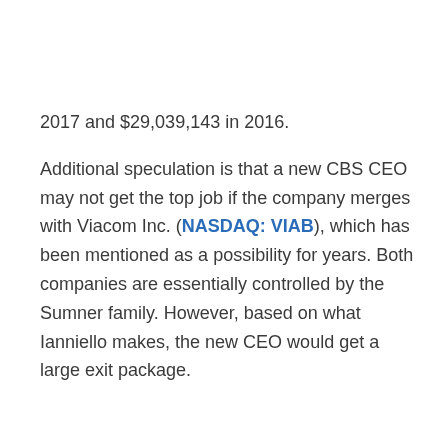2017 and $29,039,143 in 2016.
Additional speculation is that a new CBS CEO may not get the top job if the company merges with Viacom Inc. (NASDAQ: VIAB), which has been mentioned as a possibility for years. Both companies are essentially controlled by the Sumner family. However, based on what Ianniello makes, the new CEO would get a large exit package.